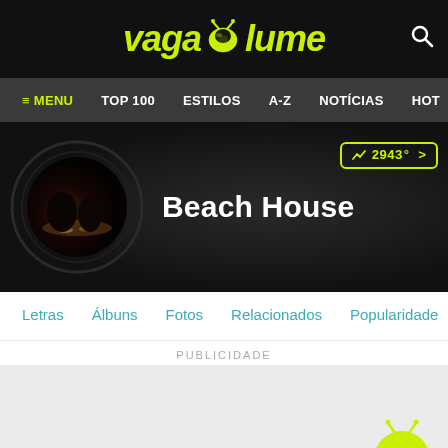[Figure (screenshot): Vagalume website header with logo and search icon on dark background]
≡ MENU  TOP 100  ESTILOS  A-Z  NOTÍCIAS  HOT
[Figure (photo): Beach House artist hero section with circular photo, artist name, and trending badge showing 2943°]
Letras  Álbuns  Fotos  Relacionados  Popularidade  Noti
PUBLICIDADE
[Figure (screenshot): Advertisement area with Vagalume play button logo in bottom right]
Original  Tradução
Space Song (tradução)